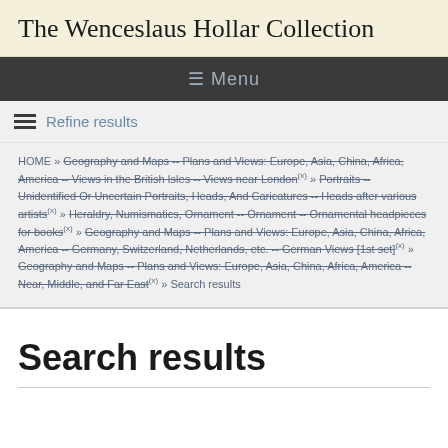The Wenceslaus Hollar Collection
☰ Menu
Refine results
HOME » Geography and Maps -- Plans and Views: Europe, Asia, China, Africa, America -- Views in the British Isles -- Views near London(x) » Portraits -- Unidentified Or Uncertain Portraits, Heads, And Caricatures -- Heads after various artists(x) » Heraldry, Numismatics, Ornament -- Ornament -- Ornamental headpieces for books(x) » Geography and Maps -- Plans and Views: Europe, Asia, China, Africa, America -- Germany, Switzerland, Netherlands, etc. -- German Views [1st set](x) » Geography and Maps -- Plans and Views: Europe, Asia, China, Africa, America -- Near, Middle, and Far East(x) » Search results
Search results